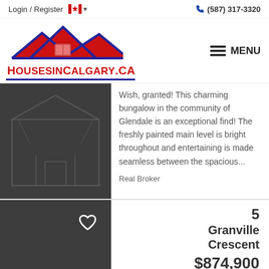Login / Register  (587) 317-3320
[Figure (logo): HousesinCalgary.ca logo with house icon and Canadian maple leaf roof design in red and blue]
Wish, granted! This charming bungalow in the community of Glendale is an exceptional find! The freshly painted main level is bright throughout and entertaining is made seamless between the spacious...
Real Broker
5 Granville Crescent
$874,900